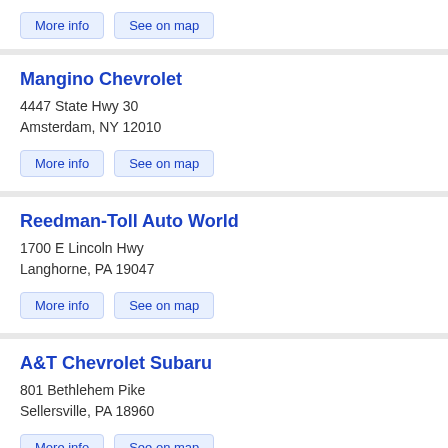More info  See on map
Mangino Chevrolet
4447 State Hwy 30
Amsterdam, NY 12010
More info  See on map
Reedman-Toll Auto World
1700 E Lincoln Hwy
Langhorne, PA 19047
More info  See on map
A&T Chevrolet Subaru
801 Bethlehem Pike
Sellersville, PA 18960
More info  See on map
▲ Back to Top